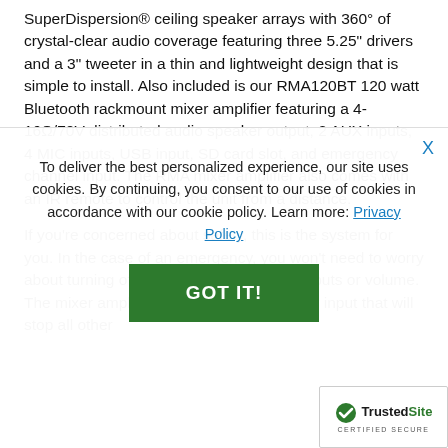SuperDispersion® ceiling speaker arrays with 360° of crystal-clear audio coverage featuring three 5.25" drivers and a 3" tweeter in a thin and lightweight design that is simple to install. Also included is our RMA120BT 120 watt Bluetooth rackmount mixer amplifier featuring a 4-16Ω/70V distributed audio speaker output, 2 AUX inputs, 4 MIC inputs, USB input, SD card slot, and emergency channel input. The RMA mixer amplifier also comes with an IR remote to control the unit from a distance.
If you're concerned about safety, this is the system for you. In the case of an emergency, you won't need to worry about turning off your audio or adjusting inputs or volume. The mixer amplifier includes an emergency input that will stop all other
To deliver the best personalized experience, our site uses cookies. By continuing, you consent to our use of cookies in accordance with our cookie policy. Learn more: Privacy Policy
GOT IT!
[Figure (logo): TrustedSite CERTIFIED SECURE logo badge]